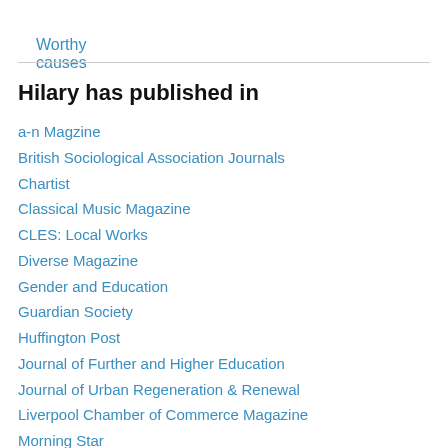Worthy causes
Hilary has published in
a-n Magzine
British Sociological Association Journals
Chartist
Classical Music Magazine
CLES: Local Works
Diverse Magazine
Gender and Education
Guardian Society
Huffington Post
Journal of Further and Higher Education
Journal of Urban Regeneration & Renewal
Liverpool Chamber of Commerce Magazine
Morning Star
Municipal Engineer
New Start